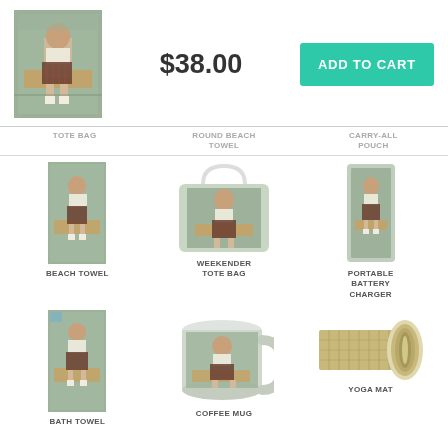[Figure (photo): Product thumbnail showing a girl sitting on a bench, used as the main product image]
$38.00
ADD TO CART
TOTE BAG
ROUND BEACH TOWEL
CARRY-ALL POUCH
[Figure (photo): Beach towel product with artwork of girl on bench]
[Figure (photo): Weekender tote bag product with artwork of girl on bench]
[Figure (photo): Portable battery charger product with artwork of girl on bench]
BEACH TOWEL
WEEKENDER TOTE BAG
PORTABLE BATTERY CHARGER
[Figure (photo): Bath towel product with artwork of girl on bench]
[Figure (photo): Coffee mug product with artwork of girl on bench]
[Figure (photo): Yoga mat product with artwork of girl on bench]
BATH TOWEL
COFFEE MUG
YOGA MAT